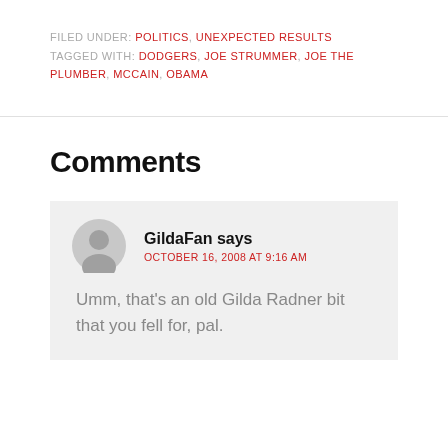FILED UNDER: POLITICS, UNEXPECTED RESULTS
TAGGED WITH: DODGERS, JOE STRUMMER, JOE THE PLUMBER, MCCAIN, OBAMA
Comments
GildaFan says
OCTOBER 16, 2008 AT 9:16 AM
Umm, that's an old Gilda Radner bit that you fell for, pal.